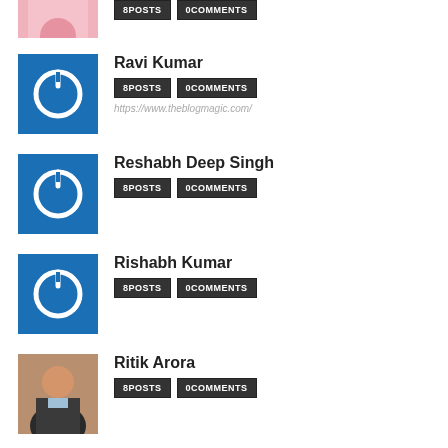[Figure (photo): Partial view of a female profile photo at top of page]
[Figure (logo): Blue square with white power button icon - Ravi Kumar avatar]
Ravi Kumar
8 POSTS   0 COMMENTS
https://www.theblogmagic.com/
[Figure (logo): Blue square with white power button icon - Reshabh Deep Singh avatar]
Reshabh Deep Singh
8 POSTS   0 COMMENTS
[Figure (logo): Blue square with white power button icon - Rishabh Kumar avatar]
Rishabh Kumar
8 POSTS   0 COMMENTS
[Figure (photo): Photo of Ritik Arora - young man in suit with glasses]
Ritik Arora
8 POSTS   0 COMMENTS
[Figure (logo): Blue square with white power button icon - Rohit Rajendra avatar (partial)]
Rohit Rajendra
8 POSTS   0 COMMENTS